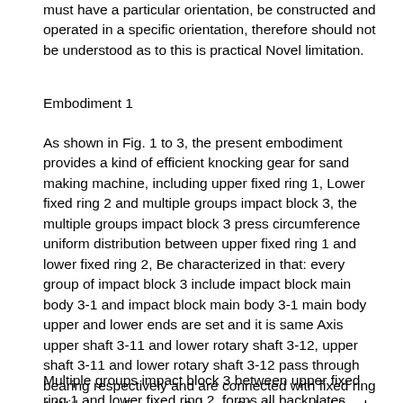must have a particular orientation, be constructed and operated in a specific orientation, therefore should not be understood as to this is practical Novel limitation.
Embodiment 1
As shown in Fig. 1 to 3, the present embodiment provides a kind of efficient knocking gear for sand making machine, including upper fixed ring 1, Lower fixed ring 2 and multiple groups impact block 3, the multiple groups impact block 3 press circumference uniform distribution between upper fixed ring 1 and lower fixed ring 2, Be characterized in that: every group of impact block 3 include impact block main body 3-1 and impact block main body 3-1 main body upper and lower ends are set and it is same Axis upper shaft 3-11 and lower rotary shaft 3-12, upper shaft 3-11 and lower rotary shaft 3-12 pass through bearing respectively and are connected with fixed ring 1 With lower fixed ring 2, lower 2 bottom end of fixed ring is connected with the driving mechanism 4 that driving multiple groups impact block 3 rotates.
Multiple groups impact block 3 between upper fixed ring 1 and lower fixed ring 2, forms all backplates, upper shaft 3-